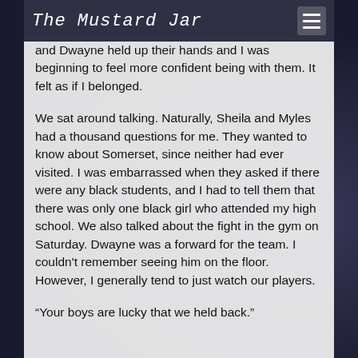The Mustard Jar
and Dwayne held up their hands and I was beginning to feel more confident being with them. It felt as if I belonged.
We sat around talking. Naturally, Sheila and Myles had a thousand questions for me. They wanted to know about Somerset, since neither had ever visited. I was embarrassed when they asked if there were any black students, and I had to tell them that there was only one black girl who attended my high school. We also talked about the fight in the gym on Saturday. Dwayne was a forward for the team. I couldn't remember seeing him on the floor. However, I generally tend to just watch our players.
“Your boys are lucky that we held back.”